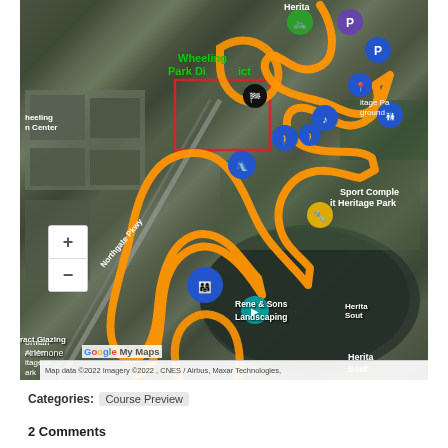[Figure (map): Google My Maps aerial satellite view of Wheeling Park District area showing a running/walking course route traced in orange, with various map markers including parking (P), restrooms, music/event icons, and labeled locations: Wheeling Park District, Northgate Pkwy, Sport Complex at Heritage Park, Heritage South, Rene & Sons Landscaping, Anemone Landscaping, orman at Heritage Park, ract Glazing. Map data ©2022 Imagery ©2022, CNES / Airbus, Maxar Technologies.]
Categories: Course Preview
2 Comments